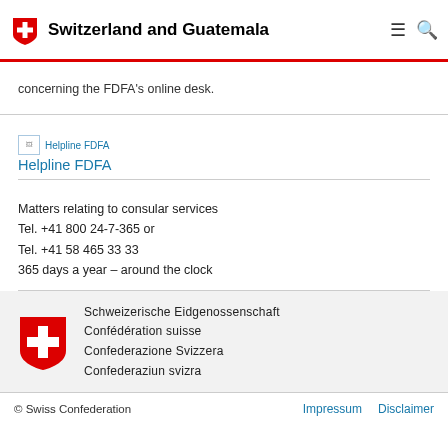Switzerland and Guatemala
concerning the FDFA's online desk.
[Figure (illustration): Helpline FDFA icon/image placeholder with text 'Helpline FDFA']
Helpline FDFA
Matters relating to consular services
Tel. +41 800 24-7-365 or
Tel. +41 58 465 33 33
365 days a year – around the clock
[Figure (logo): Swiss Confederation logo — red shield with white cross, with four language lines: Schweizerische Eidgenossenschaft, Confédération suisse, Confederazione Svizzera, Confederaziun svizra]
© Swiss Confederation   Impressum   Disclaimer